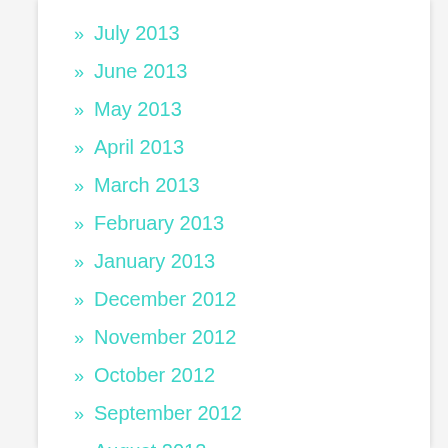» July 2013
» June 2013
» May 2013
» April 2013
» March 2013
» February 2013
» January 2013
» December 2012
» November 2012
» October 2012
» September 2012
» August 2012
» July 2012
» April 2012
» March 2012